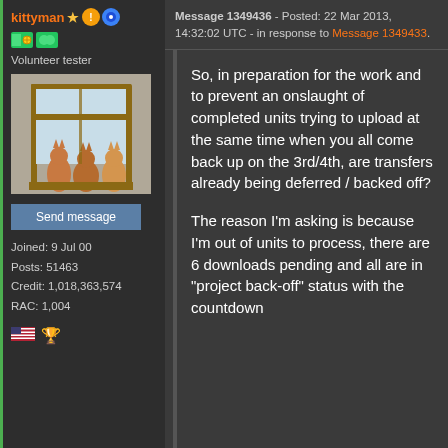kittyman ★ Volunteer tester
Send message
Joined: 9 Jul 00
Posts: 51463
Credit: 1,018,363,574
RAC: 1,004
Message 1349436 - Posted: 22 Mar 2013, 14:32:02 UTC - in response to Message 1349433.
So, in preparation for the work and to prevent an onslaught of completed units trying to upload at the same time when you all come back up on the 3rd/4th, are transfers already being deferred / backed off?
The reason I'm asking is because I'm out of units to process, there are 6 downloads pending and all are in "project back-off" status with the countdown